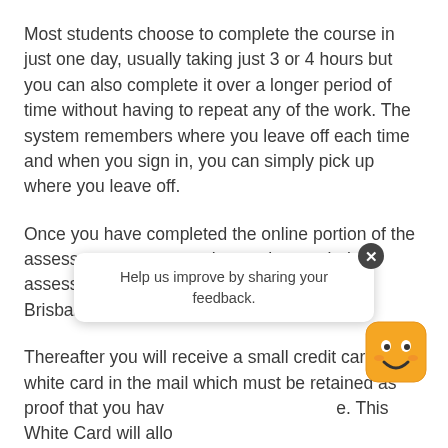Most students choose to complete the course in just one day, usually taking just 3 or 4 hours but you can also complete it over a longer period of time without having to repeat any of the work. The system remembers where you leave off each time and when you sign in, you can simply pick up where you leave off.
Once you have completed the online portion of the assessments, you complete a short verbal assessment by calling into our call centre in Brisbane during office hours.
Thereafter you will receive a small credit card sized white card in the mail which must be retained as proof that you have completed the course. This White Card will allow you to work on any construction site anywhere in Oz and doesn't limit you to working in any one specific state or territory.
[Figure (other): A tooltip/feedback widget overlaying the text. It shows a close button (dark circle with X), the text 'Help us improve by sharing your feedback.' and a smiley face emoji mascot (orange square with face) to the right.]